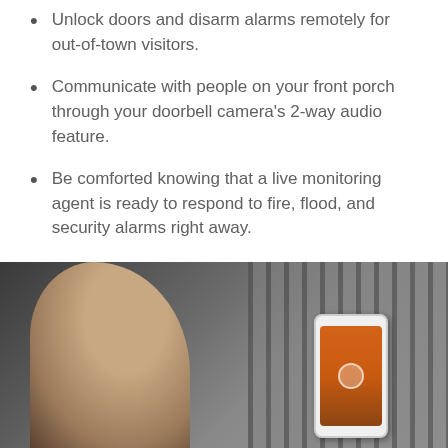Unlock doors and disarm alarms remotely for out-of-town visitors.
Communicate with people on your front porch through your doorbell camera’s 2-way audio feature.
Be comforted knowing that a live monitoring agent is ready to respond to fire, flood, and security alarms right away.
[Figure (photo): Person holding a smartphone with a home security app displayed on the screen, standing in front of a wooden fence background.]